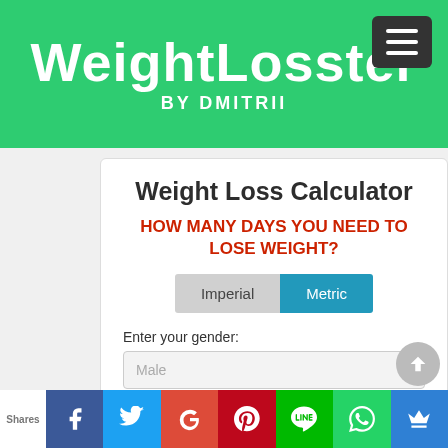WeightLosster BY DMITRII
Weight Loss Calculator
HOW MANY DAYS YOU NEED TO LOSE WEIGHT?
Imperial | Metric (toggle)
Enter your gender: Male (dropdown)
Enter your age: Years (input)
Shares | Facebook | Twitter | Google+ | Pinterest | LINE | WhatsApp | Crown